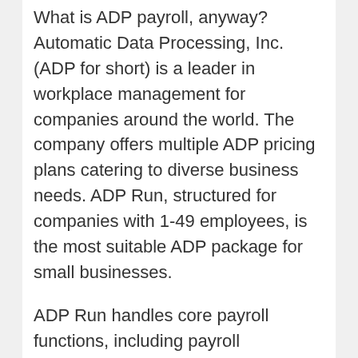What is ADP payroll, anyway? Automatic Data Processing, Inc. (ADP for short) is a leader in workplace management for companies around the world. The company offers multiple ADP pricing plans catering to diverse business needs. ADP Run, structured for companies with 1-49 employees, is the most suitable ADP package for small businesses.
ADP Run handles core payroll functions, including payroll processing, direct deposit, tax filing, and new hire reporting. Each plan also comes with useful HR applications: PTO tracking and approvals,